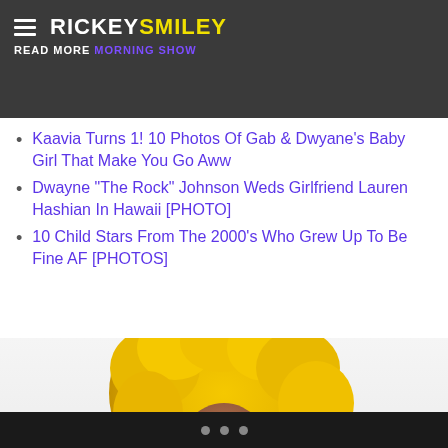RICKEY SMILEY — READ MORE [link]
Kaavia Turns 1! 10 Photos Of Gab & Dwyane's Baby Girl That Make You Go Aww
Dwayne “The Rock” Johnson Weds Girlfriend Lauren Hashian In Hawaii [PHOTO]
10 Child Stars From The 2000’s Who Grew Up To Be Fine AF [PHOTOS]
[Figure (photo): Woman with large yellow curly afro wig, wearing a sparkly/beaded outfit, smiling at camera against a light background]
Navigation dots (carousel indicator)